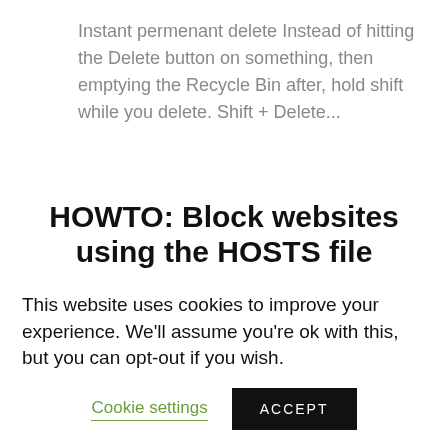Instant permenant delete Instead of hitting the Delete button on something, then emptying the Recycle Bin after, hold shift while you delete. Shift + Delete...
CONTINUE READING
Comments closed
HOWTO: Block websites using the HOSTS file
PUBLISHED 28 AUGUST 2006 BY MARK
This website uses cookies to improve your experience. We'll assume you're ok with this, but you can opt-out if you wish.
Cookie settings
ACCEPT